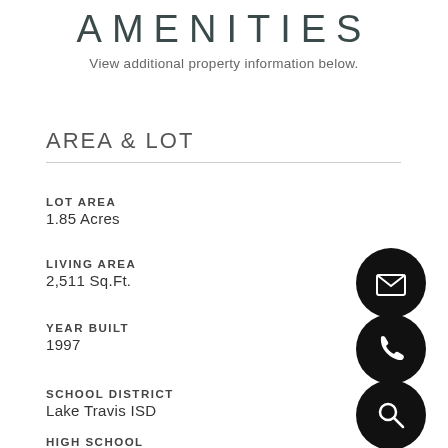AMENITIES
View additional property information below.
AREA & LOT
LOT AREA
1.85 Acres
LIVING AREA
2,511 Sq.Ft.
YEAR BUILT
1997
SCHOOL DISTRICT
Lake Travis ISD
HIGH SCHOOL